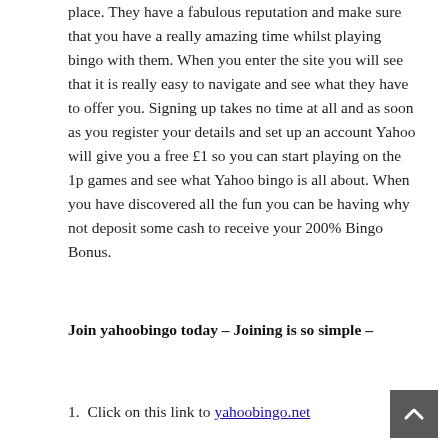place. They have a fabulous reputation and make sure that you have a really amazing time whilst playing bingo with them. When you enter the site you will see that it is really easy to navigate and see what they have to offer you. Signing up takes no time at all and as soon as you register your details and set up an account Yahoo will give you a free £1 so you can start playing on the 1p games and see what Yahoo bingo is all about. When you have discovered all the fun you can be having why not deposit some cash to receive your 200% Bingo Bonus.
Join yahoobingo today – Joining is so simple –
1. Click on this link to yahoobingo.net